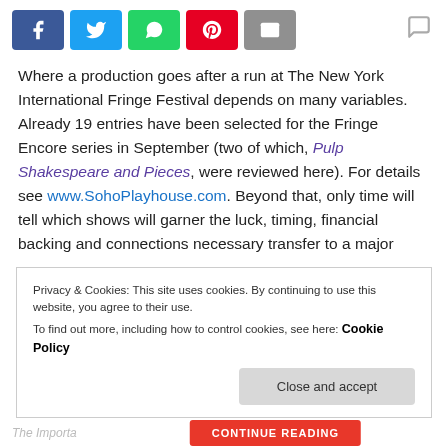[Figure (other): Social media sharing buttons: Facebook (blue), Twitter (light blue), WhatsApp (green), Pinterest (red), Email (grey), and a comment icon on the right]
Where a production goes after a run at The New York International Fringe Festival depends on many variables. Already 19 entries have been selected for the Fringe Encore series in September (two of which, Pulp Shakespeare and Pieces, were reviewed here). For details see www.SohoPlayhouse.com. Beyond that, only time will tell which shows will garner the luck, timing, financial backing and connections necessary transfer to a major
Privacy & Cookies: This site uses cookies. By continuing to use this website, you agree to their use.
To find out more, including how to control cookies, see here: Cookie Policy
Close and accept
The Importa... CONTINUE READING